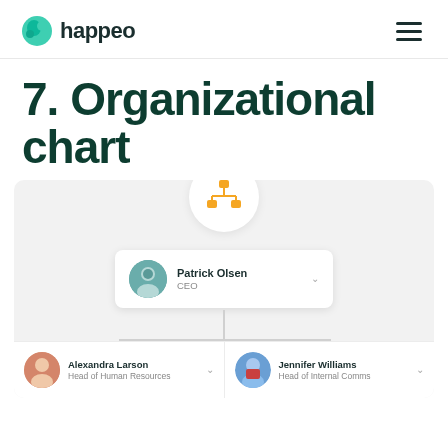happeo
7. Organizational chart
[Figure (organizational-chart): Organizational chart showing Patrick Olsen (CEO) at the top, with two direct reports: Alexandra Larson (Head of Human Resources) and Jennifer Williams (Head of Internal Comms). An org chart icon is displayed in a white circle above the chart area.]